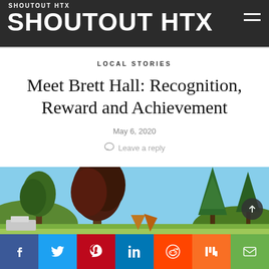SHOUTOUT HTX
LOCAL STORIES
Meet Brett Hall: Recognition, Reward and Achievement
May 6, 2020
Leave a reply
[Figure (photo): Outdoor landscape photo showing trees including dark-leafed and green conifer trees against a blue sky, with a grassy area and some structures visible.]
Social sharing buttons: Facebook, Twitter, Pinterest, LinkedIn, Reddit, Mix, Email